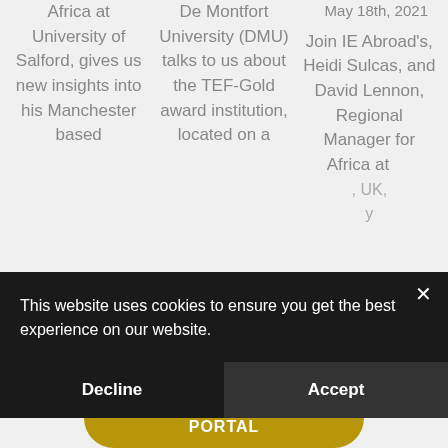Africa at University of Salford, gives us new insights into his Manchester based
De Montfort University (DMU) talks to us about the TEF-Gold award institution, located on a
May 18th, 2021

Join IE Abroad's, Heidi Sulcas, and David Lennon, Regional Manager for Africa at
This website uses cookies to ensure you get the best experience on our website.
Decline
Accept
GO TO STUDENT PORTAL